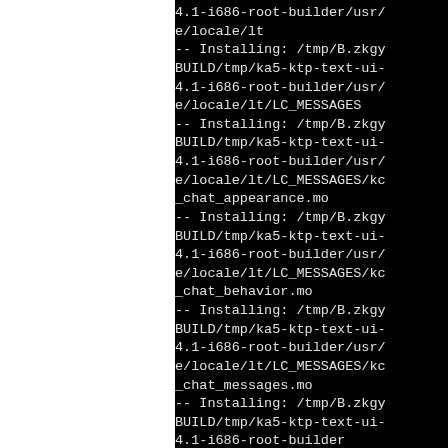4.1-i686-root-builder/usr/share/locale/lt
-- Installing: /tmp/B.zkgy/BUILD/tmp/ka5-ktp-text-ui-4.1-i686-root-builder/usr/share/locale/lt/LC_MESSAGES
-- Installing: /tmp/B.zkgy/BUILD/tmp/ka5-ktp-text-ui-4.1-i686-root-builder/usr/share/locale/lt/LC_MESSAGES/kc_chat_appearance.mo
-- Installing: /tmp/B.zkgy/BUILD/tmp/ka5-ktp-text-ui-4.1-i686-root-builder/usr/share/locale/lt/LC_MESSAGES/kc_chat_behavior.mo
-- Installing: /tmp/B.zkgy/BUILD/tmp/ka5-ktp-text-ui-4.1-i686-root-builder/usr/share/locale/lt/LC_MESSAGES/kc_chat_messages.mo
-- Installing: /tmp/B.zkgy/BUILD/tmp/ka5-ktp-text-ui-4.1-i686-root-builder